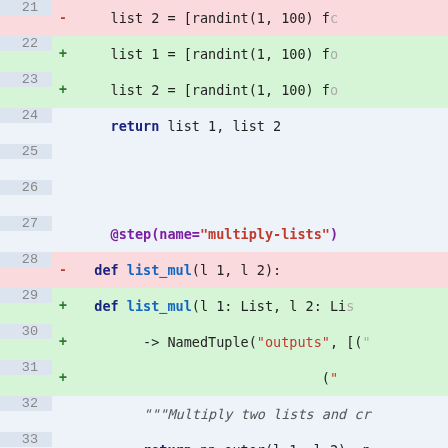[Figure (screenshot): Code diff view showing Python source lines 21–38 with line numbers, diff markers (+/-), and syntax highlighting on a blue-grey background. Lines 21, 28, 37 are red (removed); lines 22, 23, 29, 30, 31 are green (added). Decorators @step appear in purple, def/return keywords in dark blue bold, function names in blue bold, strings in red/orange, type hints in dark blue.]